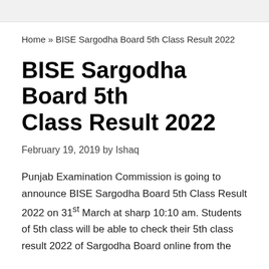Home » BISE Sargodha Board 5th Class Result 2022
BISE Sargodha Board 5th Class Result 2022
February 19, 2019 by Ishaq
Punjab Examination Commission is going to announce BISE Sargodha Board 5th Class Result 2022 on 31st March at sharp 10:10 am. Students of 5th class will be able to check their 5th class result 2022 of Sargodha Board online from the official website of this board as well